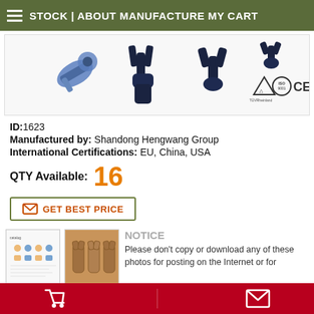STOCK | ABOUT MANUFACTURE MY CART
[Figure (photo): Product image showing various tools/connectors in blue and black colors with TUV, ISO 9001, and CE certification logos in the lower right]
ID: 1623
Manufactured by: Shandong Hengwang Group
International Certifications: EU, China, USA
QTY Available: 16
GET BEST PRICE
[Figure (photo): Two product thumbnail images - one showing a catalog page with tool diagrams, and one showing physical metal tools]
NOTICE
Please don't copy or download any of these photos for posting on the Internet or for
Shopping cart icon | Email icon